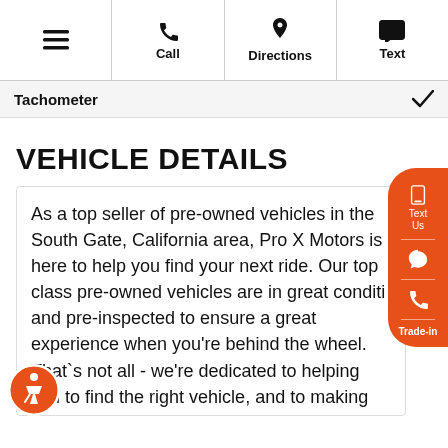☰  Call  Directions  Text
Tachometer ✓
VEHICLE DETAILS
As a top seller of pre-owned vehicles in the South Gate, California area, Pro X Motors is here to help you find your next ride. Our top class pre-owned vehicles are in great conditi and pre-inspected to ensure a great experience when you're behind the wheel. That`s not all - we're dedicated to helping you to find the right vehicle, and to making sure that you don't suffer from buyer's remorse. With a no-hassle 2-day return and a commitment to quality, we help our customers be confident as they leave the lot. In addition, we offer easy financing. We work with